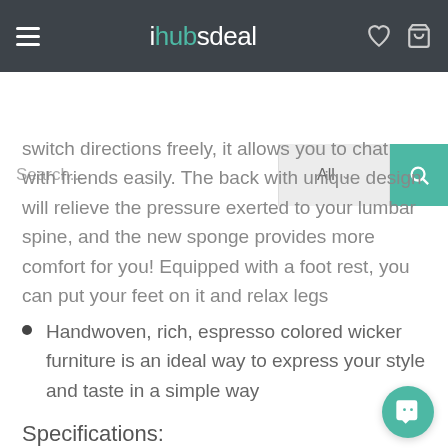ihubdeal
switch directions freely, it allows you to chat with friends easily. The back with unique design will relieve the pressure exerted to your lumbar spine, and the new sponge provides more comfort for you! Equipped with a foot rest, you can put your feet on it and relax legs
Handwoven, rich, espresso colored wicker furniture is an ideal way to express your style and taste in a simple way
Specifications:
Color: Espresso/Black